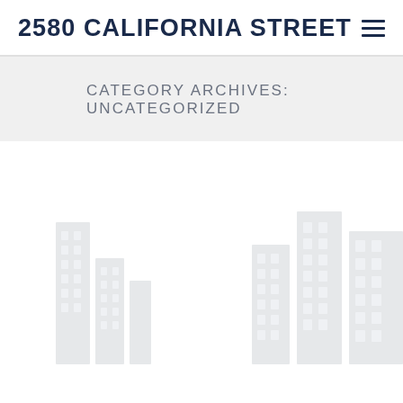2580 CALIFORNIA STREET
CATEGORY ARCHIVES: UNCATEGORIZED
[Figure (illustration): Faint watermark-style illustration of buildings or architectural elements in light gray tones filling the lower portion of the page]